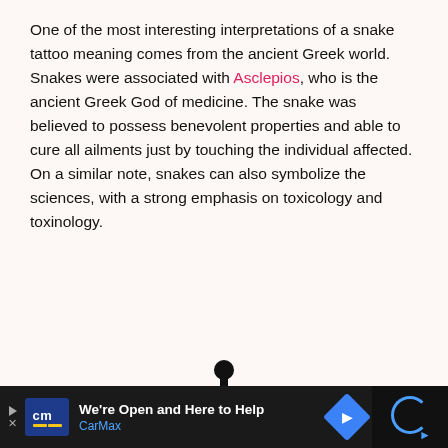One of the most interesting interpretations of a snake tattoo meaning comes from the ancient Greek world. Snakes were associated with Asclepios, who is the ancient Greek God of medicine. The snake was believed to possess benevolent properties and able to cure all ailments just by touching the individual affected. On a similar note, snakes can also symbolize the sciences, with a strong emphasis on toxicology and toxinology.
[Figure (illustration): Black and white illustration of a caduceus (medical symbol) — a staff with wings at the top and two snakes coiled around it, partially visible as it extends below the image boundary.]
[Figure (screenshot): Advertisement bar at the bottom: CarMax ad with blue logo, text 'We're Open and Here to Help' and 'CarMax' in blue, a blue navigation diamond icon, and a dark section on the right with a reCAPTCHA-style icon.]